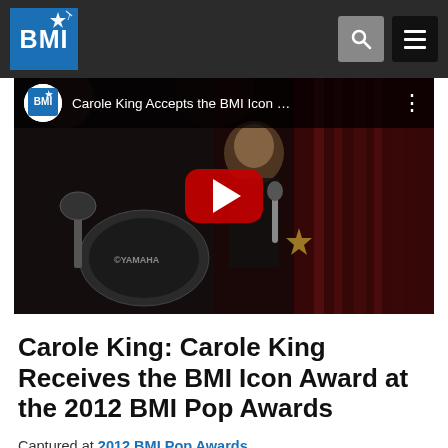BMI
[Figure (screenshot): YouTube video thumbnail showing Carole King on stage holding a microphone and award, with a red YouTube play button overlay. The video title bar reads: Carole King Accepts the BMI Icon ...]
Carole King: Carole King Receives the BMI Icon Award at the 2012 BMI Pop Awards
Captured at 2012 BMI Pop Awards